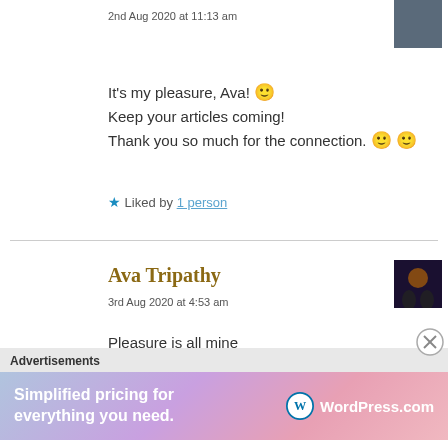2nd Aug 2020 at 11:13 am
It's my pleasure, Ava! 🙂
Keep your articles coming!
Thank you so much for the connection. 🙂 🙂
★ Liked by 1 person
Ava Tripathy
3rd Aug 2020 at 4:53 am
Pleasure is all mine
Stay safe and happy 😊😇
Advertisements
[Figure (infographic): WordPress.com advertisement banner with gradient background: 'Simplified pricing for everything you need. WordPress.com']